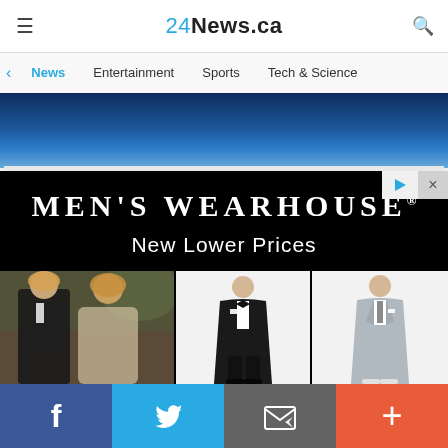24News.ca
News  |  Entertainment  |  Sports  |  Tech & Science
[Figure (illustration): Blue gradient banner background for news website]
[Figure (illustration): Men's Wearhouse advertisement with black background showing brand name 'MEN'S WEARHOUSE®', tagline 'New Lower Prices', and photos of suited models including a couple and two men in black and grey suits]
Facebook | Twitter | Email | More (social share bar)